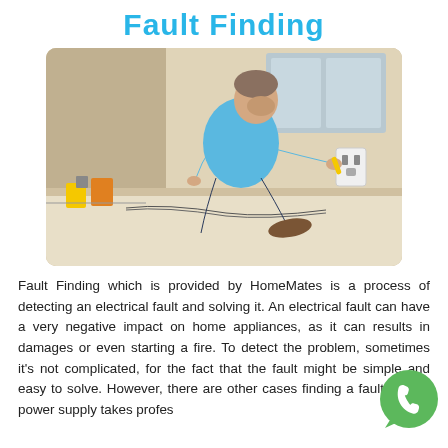Fault Finding
[Figure (photo): Electrician in blue polo shirt kneeling on floor, testing electrical outlet with a multimeter/probe tool in a room under renovation]
Fault Finding which is provided by HomeMates is a process of detecting an electrical fault and solving it. An electrical fault can have a very negative impact on home appliances, as it can results in damages or even starting a fire. To detect the problem, sometimes it's not complicated, for the fact that the fault might be simple and easy to solve. However, there are other cases finding a fault in your power supply takes professional